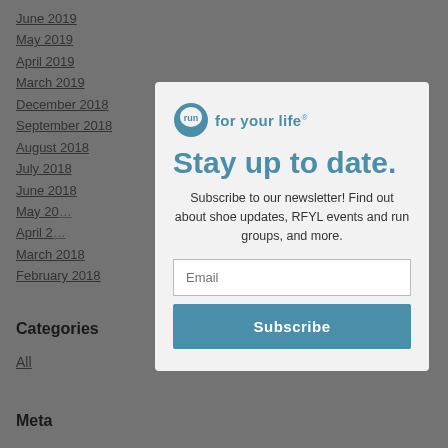June 2019
May 2019
April 2019
March 2019
December 2018
September 2018
August 2018
July 2018
June 2018
May 20…
April 2…
March 2018
February 2018
Categories
All
Meta
[Figure (screenshot): Newsletter subscription modal popup overlay on a website. Contains the 'run for your life' logo, headline 'Stay up to date.', description text, email input field, and Subscribe button.]